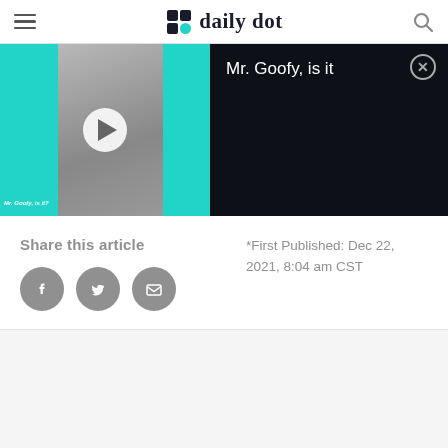daily dot
[Figure (screenshot): Video player showing 'Mr. Goofy, is it' with teal background, thumbnail of a person, play button overlay, and dark panel on the right with video title and close button]
Share this article
*First Published: Dec 22, 2021, 8:04 am CST